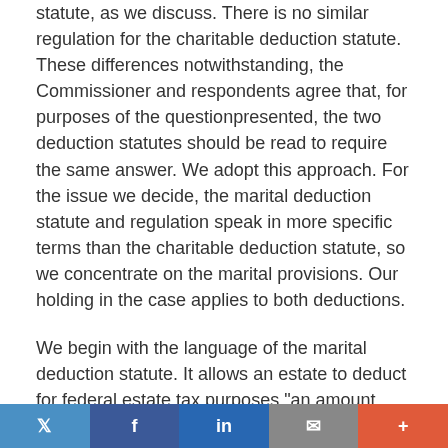statute, as we discuss. There is no similar regulation for the charitable deduction statute. These differences notwithstanding, the Commissioner and respondents agree that, for purposes of the questionpresented, the two deduction statutes should be read to require the same answer. We adopt this approach. For the issue we decide, the marital deduction statute and regulation speak in more specific terms than the charitable deduction statute, so we concentrate on the marital provisions. Our holding in the case applies to both deductions.
We begin with the language of the marital deduction statute. It allows an estate to deduct for federal estate tax purposes "an amount equal to the value of any interest in property which passes or has passed from the decedent to his surviving spouse, but only to the extent that such interest is included in determining the value of the gross estate." 26
Twitter | Facebook | LinkedIn | Email | +